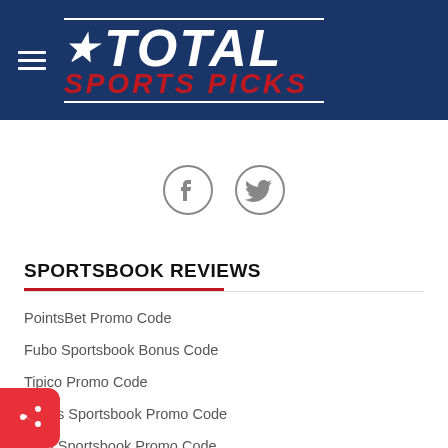[Figure (logo): Total Sports Picks logo with star, white TOTAL text and red SPORTS PICKS text on navy blue background with hamburger menu icon]
[Figure (infographic): Facebook and Twitter social share icon buttons (circular outlines with icons)]
SPORTSBOOK REVIEWS
PointsBet Promo Code
Fubo Sportsbook Bonus Code
Tipico Promo Code
DraftKings Sportsbook Promo Code
FanDuel Sportsbook Promo Code